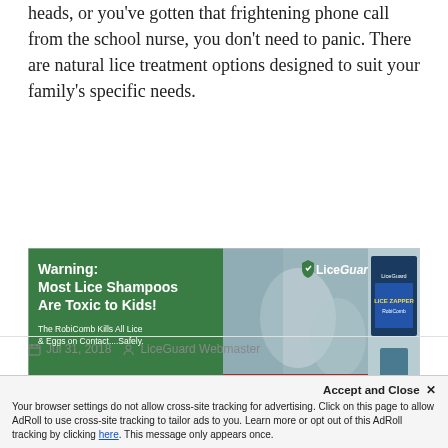heads, or you've gotten that frightening phone call from the school nurse, you don't need to panic. There are natural lice treatment options designed to suit your family's specific needs.
[Figure (photo): LiceGuard advertisement banner. Green left panel with bold white text: 'Warning: Most Lice Shampoos Are Toxic to Kids! The RobiComb Kills All Lice & Eggs on Contact....Safely.' Right panel shows a woman on phone with child in background, red strip at bottom reads 'Available at Your Local Pharmacy'. LiceGuard logo and product box on right.]
← Back to Lice Treatment Guide    Next Post →
Jul 31, 2018   LiceGuard Webmaster
Accept and Close ✕
Your browser settings do not allow cross-site tracking for advertising. Click on this page to allow AdRoll to use cross-site tracking to tailor ads to you. Learn more or opt out of this AdRoll tracking by clicking here. This message only appears once.